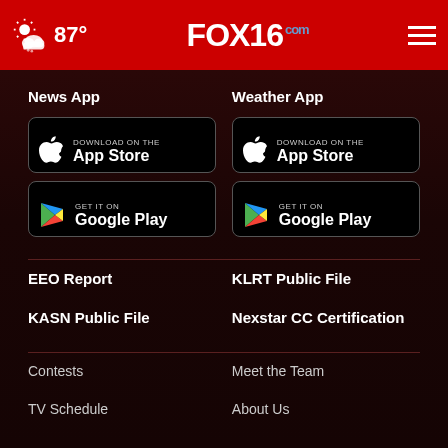87° FOX16.com
News App
[Figure (screenshot): Download on the App Store button (black)]
[Figure (screenshot): GET IT ON Google Play button (black)]
Weather App
[Figure (screenshot): Download on the App Store button (black)]
[Figure (screenshot): GET IT ON Google Play button (black)]
EEO Report
KLRT Public File
KASN Public File
Nexstar CC Certification
Contests
Meet the Team
TV Schedule
About Us